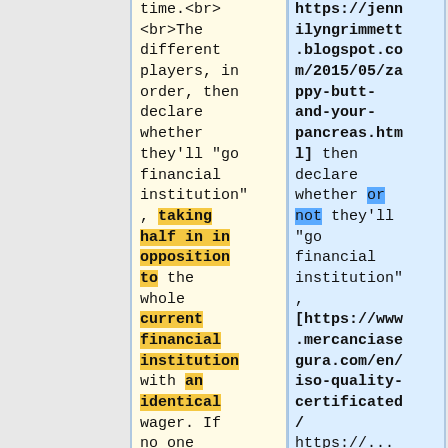time.<br>
<br>The different players, in order, then declare whether they'll "go financial institution", taking half in in opposition to the whole current financial institution with an identical wager. If no one...
https://jennilyngrimmett.blogspot.com/2015/05/zappy-butt-and-your-pancreas.html] then declare whether or not they'll "go financial institution", [https://www.mercanciasegura.com/en/iso-quality-certificated/ https://...